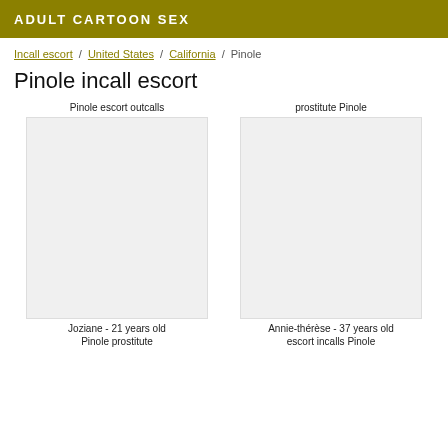ADULT CARTOON SEX
Incall escort / United States / California / Pinole
Pinole incall escort
Pinole escort outcalls
prostitute Pinole
Joziane - 21 years old
Annie-thérèse - 37 years old
Pinole prostitute
escort incalls Pinole